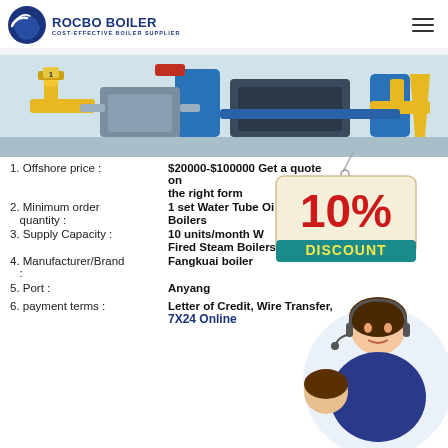ROCBO BOILER — COST-EFFECTIVE BOILER SUPPLIER
[Figure (photo): Industrial boiler room with yellow and blue pipes and equipment]
1. Offshore price : $20000-$100000 Get a quote on the right form
2. Minimum order quantity : 1 set Water Tube Oil Boilers
3. Supply Capacity : 10 units/month Water Fired Steam Boilers
4. Manufacturer/Brand : Fangkuai boiler
5. Port : Anyang
[Figure (infographic): 10% Discount badge and customer service representative with headset]
6. payment terms : Letter of Credit, Wire Transfer, 7X24 Online